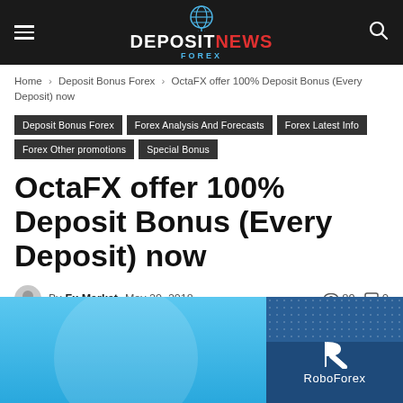DEPOSIT NEWS FOREX
Home › Deposit Bonus Forex › OctaFX offer 100% Deposit Bonus (Every Deposit) now
Deposit Bonus Forex
Forex Analysis And Forecasts
Forex Latest Info
Forex Other promotions
Special Bonus
OctaFX offer 100% Deposit Bonus (Every Deposit) now
By Fx Market   May 20, 2018   89   0
[Figure (logo): RoboForex logo on blue/dark blue panel with dot grid background]